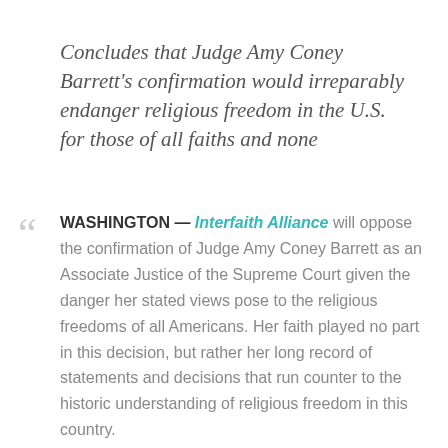Concludes that Judge Amy Coney Barrett's confirmation would irreparably endanger religious freedom in the U.S. for those of all faiths and none
WASHINGTON — Interfaith Alliance will oppose the confirmation of Judge Amy Coney Barrett as an Associate Justice of the Supreme Court given the danger her stated views pose to the religious freedoms of all Americans. Her faith played no part in this decision, but rather her long record of statements and decisions that run counter to the historic understanding of religious freedom in this country.